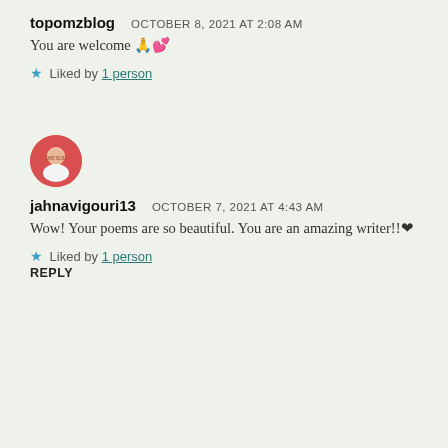topomzblog   OCTOBER 8, 2021 AT 2:08 AM
You are welcome 🙏💕
★ Liked by 1 person
[Figure (photo): Circular avatar photo of user jahnavigouri13, showing a person with reddish background]
jahnavigouri13   OCTOBER 7, 2021 AT 4:43 AM
Wow! Your poems are so beautiful. You are an amazing writer!!❤
★ Liked by 1 person
REPLY